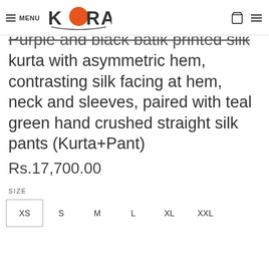MENU | KORA logo
Purple and black batik printed silk kurta with asymmetric hem, contrasting silk facing at hem, neck and sleeves, paired with teal green hand crushed straight silk pants (Kurta+Pant)
Rs.17,700.00
SIZE
XS
S
M
L
XL
XXL